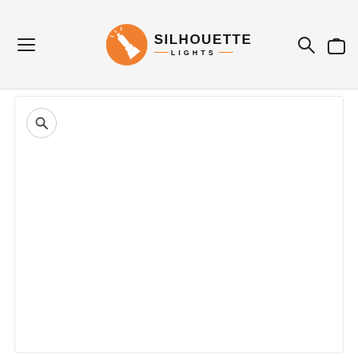SILHOUETTE LIGHTS
[Figure (other): Product image area with zoom button — large white empty content panel with a rounded border]